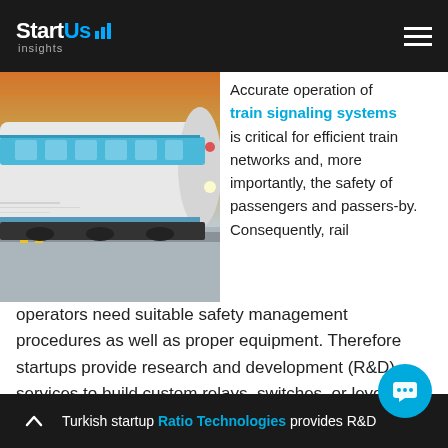StartUs insights
[Figure (photo): A modern white and blue passenger train at a station platform, motion blur effect, orange sky background.]
Accurate operation of train signaling systems is critical for efficient train networks and, more importantly, the safety of passengers and passers-by. Consequently, rail operators need suitable safety management procedures as well as proper equipment. Therefore startups provide research and development (R&D) services to build custom relays, switches, or level crossing systems for local railway signaling networks.
Turkish startup Ratio Technologies provides R&D...